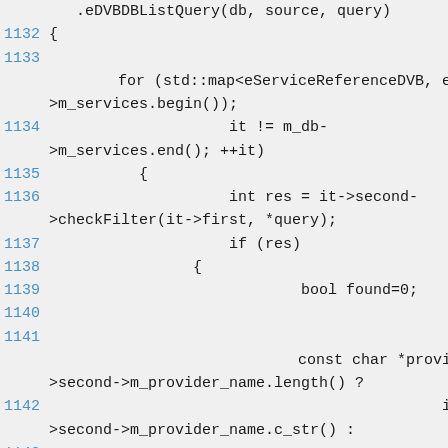Source code listing, lines 1132-1143, showing C++ DVB service list query filter loop
1132 {
1133
for (std::map<eServiceReferenceDVB, e>m_services.begin());
1134                        it != m_db->m_services.end(); ++it)
1135          {
1136                    int res = it->second->checkFilter(it->first, *query);
1137                    if (res)
1138                {
1139                            bool found=0;
1140
1141
const char *provider_>second->m_provider_name.length() ?
1142                                            it->second->m_provider_name.c_str() :
1143
"Unknown";